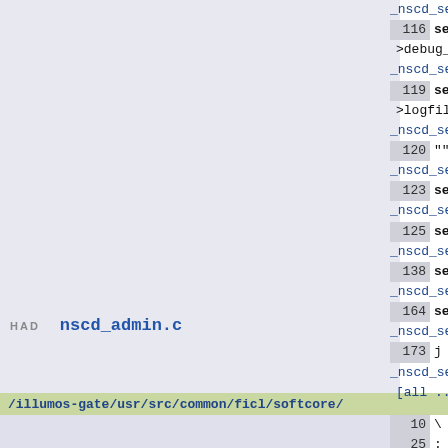HAD   nscd_admin.c
_nscd_server_se
116  set->deb
>debug_level);
_nscd_server_se
119  set->log
>logfile == '\0
_nscd_server_se
120  "" : set
_nscd_server_se
123  set->cac
_nscd_server_se
125  set->cac
_nscd_server_se
138  set->deb
_nscd_server_se
164  set->cac
_nscd_server_se
173  j = set-
_nscd_server_se
[all ...]
/illumos-gate/usr/src/common/ficl/softcore/
10  \ s" arf
25  : set-co
) my=[ .count s
30  : set-bu